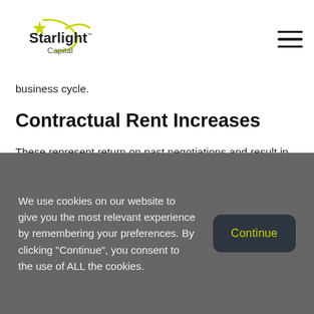Starlight Capital
business cycle.
Contractual Rent Increases
These represent return on past negotiations and result in current period revenue gains based on past period expenditures (leasing costs and tenant inducements). A quality real estate portfolio should see annual contractual rent increases across most (if not all) of the portfolio leases
We use cookies on our website to give you the most relevant experience by remembering your preferences. By clicking "Continue", you consent to the use of ALL the cookies.